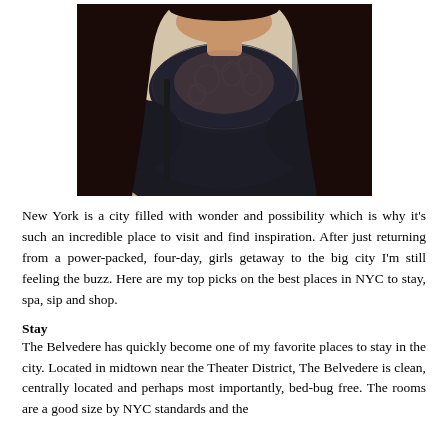[Figure (photo): A woman with long dark hair wearing a black lace top, photographed from shoulders up. Background shows another person and a store interior.]
New York is a city filled with wonder and possibility which is why it's such an incredible place to visit and find inspiration. After just returning from a power-packed, four-day, girls getaway to the big city I'm still feeling the buzz. Here are my top picks on the best places in NYC to stay, spa, sip and shop.
Stay
The Belvedere has quickly become one of my favorite places to stay in the city. Located in midtown near the Theater District, The Belvedere is clean, centrally located and perhaps most importantly, bed-bug free. The rooms are a good size by NYC standards and the bathrooms feature classic marble flooring. This hotel is with...